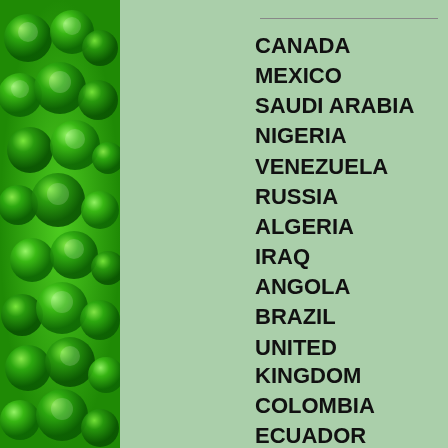[Figure (illustration): Green decorative left panel with shiny 3D bubble/clover shapes on a gradient green background]
CANADA
MEXICO
SAUDI ARABIA
NIGERIA
VENEZUELA
RUSSIA
ALGERIA
IRAQ
ANGOLA
BRAZIL
UNITED KINGDOM
COLOMBIA
ECUADOR